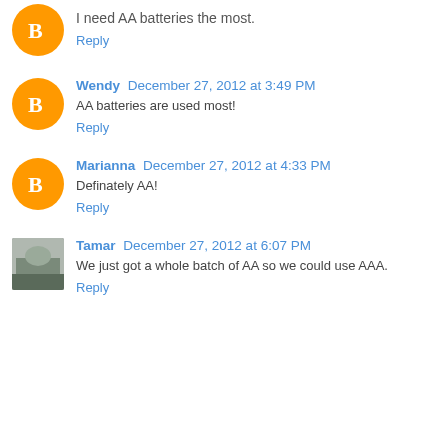I need AA batteries the most.
Reply
Wendy  December 27, 2012 at 3:49 PM
AA batteries are used most!
Reply
Marianna  December 27, 2012 at 4:33 PM
Definately AA!
Reply
Tamar  December 27, 2012 at 6:07 PM
We just got a whole batch of AA so we could use AAA.
Reply